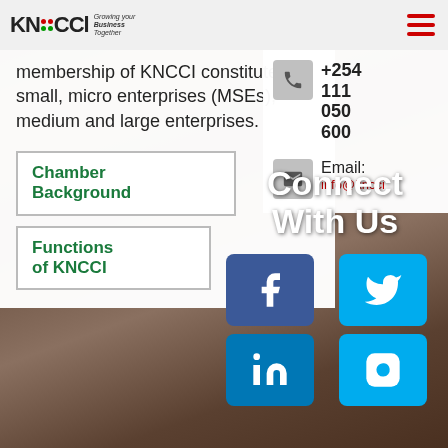[Figure (screenshot): KNCCI website screenshot showing membership description, navigation buttons, contact information, and social media links. Background shows a photo of a person at an event.]
membership of KNCCI constitutes of small, micro enterprises (MSEs), medium and large enterprises.
Chamber Background
Functions of KNCCI
+254 111 050 600
Email: info@kncci...
Connect With Us